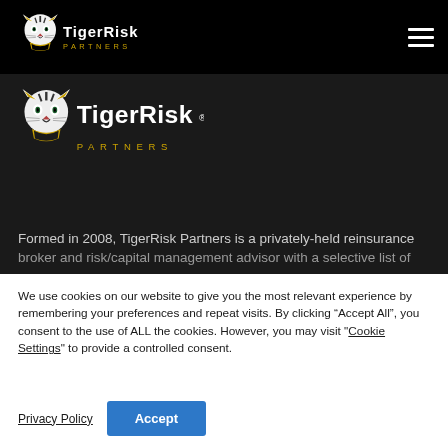[Figure (logo): TigerRisk Partners logo in white on black navigation bar]
[Figure (logo): TigerRisk Partners large logo in white on dark background]
Formed in 2008, TigerRisk Partners is a privately-held reinsurance broker and risk/capital management advisor with a selective list of
We use cookies on our website to give you the most relevant experience by remembering your preferences and repeat visits. By clicking “Accept All”, you consent to the use of ALL the cookies. However, you may visit "Cookie Settings" to provide a controlled consent.
Privacy Policy
Accept